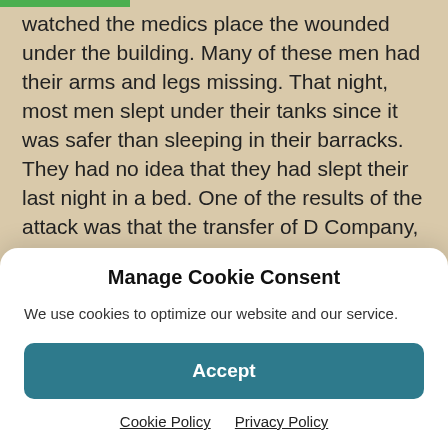watched the medics place the wounded under the building. Many of these men had their arms and legs missing. That night, most men slept under their tanks since it was safer than sleeping in their barracks. They had no idea that they had slept their last night in a bed. One of the results of the attack was that the transfer of D Company, to the 194th, was never completed. The company fought with the 194th but retained its designation of being part of the 192nd.

The next day, those men not assigned to a tank or half-
Manage Cookie Consent
We use cookies to optimize our website and our service.
Accept
Cookie Policy   Privacy Policy